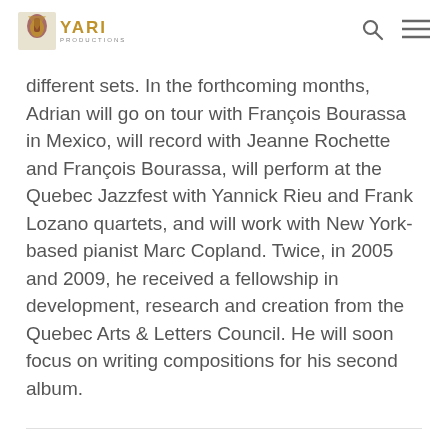YARI PRODUCTIONS
different sets. In the forthcoming months, Adrian will go on tour with François Bourassa in Mexico, will record with Jeanne Rochette and François Bourassa, will perform at the Quebec Jazzfest with Yannick Rieu and Frank Lozano quartets, and will work with New York-based pianist Marc Copland. Twice, in 2005 and 2009, he received a fellowship in development, research and creation from the Quebec Arts & Letters Council. He will soon focus on writing compositions for his second album.